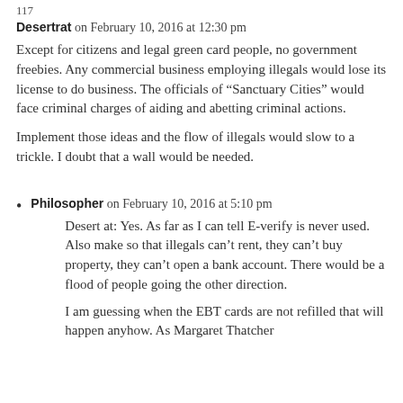117
Desertrat on February 10, 2016 at 12:30 pm
Except for citizens and legal green card people, no government freebies. Any commercial business employing illegals would lose its license to do business. The officials of “Sanctuary Cities” would face criminal charges of aiding and abetting criminal actions.
Implement those ideas and the flow of illegals would slow to a trickle. I doubt that a wall would be needed.
Philosopher on February 10, 2016 at 5:10 pm
Desert at: Yes. As far as I can tell E-verify is never used. Also make so that illegals can’t rent, they can’t buy property, they can’t open a bank account. There would be a flood of people going the other direction.
I am guessing when the EBT cards are not refilled that will happen anyhow. As Margaret Thatcher